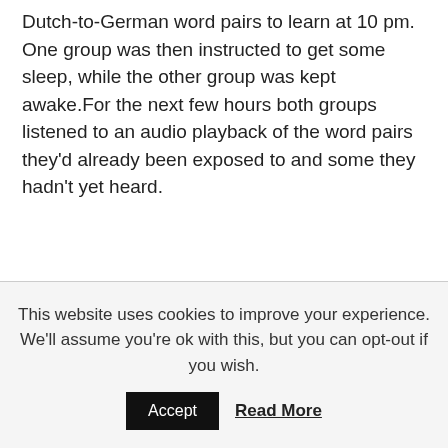Dutch-to-German word pairs to learn at 10 pm. One group was then instructed to get some sleep, while the other group was kept awake.For the next few hours both groups listened to an audio playback of the word pairs they'd already been exposed to and some they hadn't yet heard.
This website uses cookies to improve your experience. We'll assume you're ok with this, but you can opt-out if you wish.